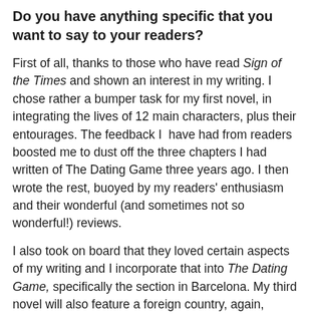Do you have anything specific that you want to say to your readers?
First of all, thanks to those who have read Sign of the Times and shown an interest in my writing. I chose rather a bumper task for my first novel, in integrating the lives of 12 main characters, plus their entourages. The feedback I  have had from readers boosted me to dust off the three chapters I had written of The Dating Game three years ago. I then wrote the rest, buoyed by my readers' enthusiasm and their wonderful (and sometimes not so wonderful!) reviews.
I also took on board that they loved certain aspects of my writing and I incorporate that into The Dating Game, specifically the section in Barcelona. My third novel will also feature a foreign country, again, because readers told me they particularly enjoyed